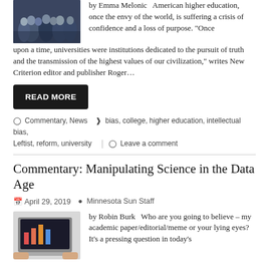[Figure (photo): Group of people/crowd, dark tones]
by Emma Melonic  American higher education, once the envy of the world, is suffering a crisis of confidence and a loss of purpose. "Once upon a time, universities were institutions dedicated to the pursuit of truth and the transmission of the highest values of our civilization," writes New Criterion editor and publisher Roger…
READ MORE
Commentary, News   bias, college, higher education, intellectual bias, Leftist, reform, university   Leave a comment
Commentary: Manipulating Science in the Data Age
April 29, 2019   Minnesota Sun Staff
[Figure (photo): Laptop computer showing a chart/graph on screen with hands at keyboard]
by Robin Burk   Who are you going to believe – my academic paper/editorial/meme or your lying eyes? It's a pressing question in today's